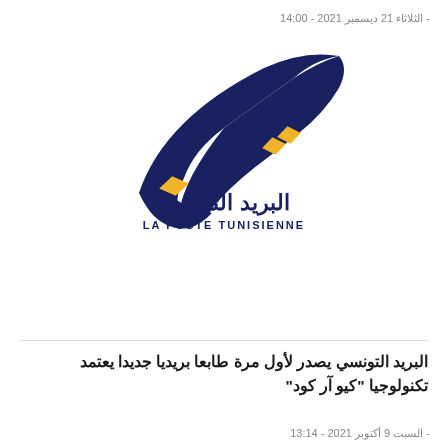- الثلاثاء 21 ديسمبر 2021 - 14:00
[Figure (logo): La Poste Tunisienne logo with Arabic text البريد التونسي and French text LA POSTE TUNISIENNE, featuring a dark blue stylized swoosh shape with two gold diamond shapes]
البريد التونسي يصدر لأول مرة طابعا بريديا جديدا يعتمد تكنولوجيا "كيو آر كود"
- السبت 9 أكتوبر 2021 - 13:14